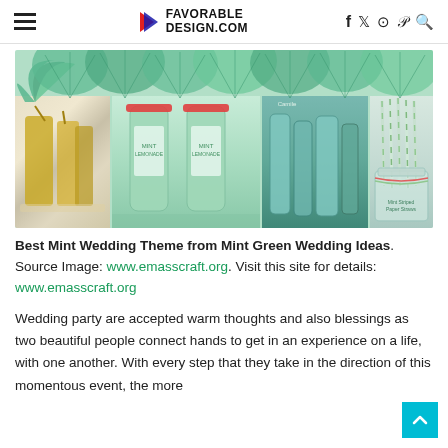FAVORABLE DESIGN.COM
[Figure (photo): Collage of mint green wedding decorations: paper fans, glitter bottles, mint green soda bottles, teal glass bottles, and mint striped paper straws in a mason jar.]
Best Mint Wedding Theme from Mint Green Wedding Ideas. Source Image: www.emasscraft.org. Visit this site for details: www.emasscraft.org
Wedding party are accepted warm thoughts and also blessings as two beautiful people connect hands to get in an experience on a life, with one another. With every step that they take in the direction of this momentous event, the more